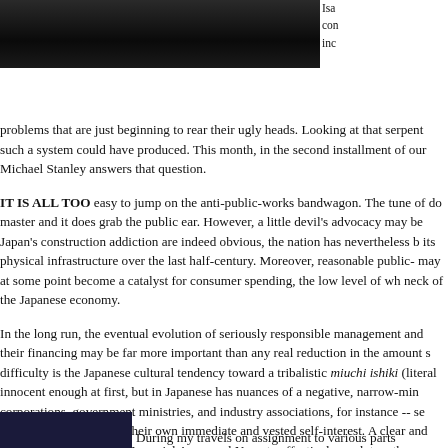[Figure (photo): Dark photograph, mostly black, appears to be a performance or concert scene with silhouetted figure]
Isa... con... inc... problems that are just beginning to rear their ugly heads. Looking at that serpent... such a system could have produced. This month, in the second installment of our... Michael Stanley answers that question.
IT IS ALL TOO easy to jump on the anti-public-works bandwagon. The tune of do... master and it does grab the public ear. However, a little devil's advocacy may be... Japan's construction addiction are indeed obvious, the nation has nevertheless b... its physical infrastructure over the last half-century. Moreover, reasonable public-... may at some point become a catalyst for consumer spending, the low level of wh... neck of the Japanese economy.
In the long run, the eventual evolution of seriously responsible management and... their financing may be far more important than any real reduction in the amount s... difficulty is the Japanese cultural tendency toward a tribalistic miuchi ishiki (literal... innocent enough at first, but in Japanese has nuances of a negative, narrow-min... corporations, government ministries, and industry associations, for instance -- se... directly concerned with their own immediate and vested self-interest. A clear and... inability of the Japanese Imperial Army and Navy to effectively work together eve... to the heart of the Japanese homeland. Even the threat of imminent catastrophe... petrified thinking. Japan's real, functioning organizational philosophy has not mat... decades, and that is the core of the problem. The spending excesses and scanda... illness, not the causes.
[Figure (photo): Small dark blue/purple image at bottom left]
During my travels on assignment to various parts...